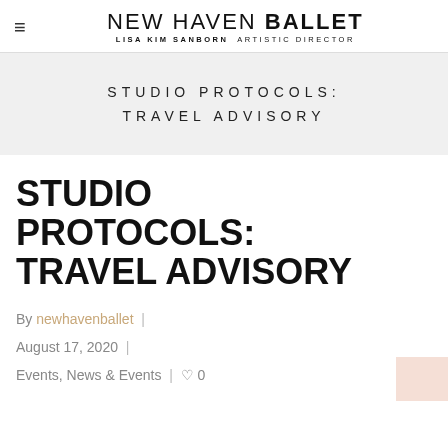NEW HAVEN BALLET — LISA KIM SANBORN ARTISTIC DIRECTOR
STUDIO PROTOCOLS: TRAVEL ADVISORY
STUDIO PROTOCOLS: TRAVEL ADVISORY
By newhavenballet | August 17, 2020 | Events, News & Events | 0